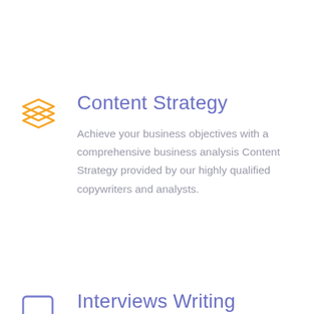[Figure (illustration): Orange layered stacked squares icon representing content strategy]
Content Strategy
Achieve your business objectives with a comprehensive business analysis Content Strategy provided by our highly qualified copywriters and analysts.
[Figure (illustration): Blue speech bubble / chat icon representing interviews writing]
Interviews Writing
Gain authority in your industry